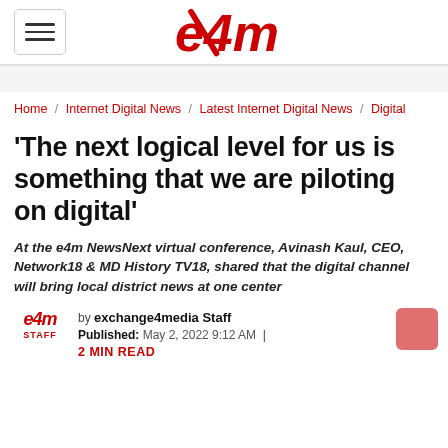e4m logo with hamburger menu
Home / Internet Digital News / Latest Internet Digital News / Digital
'The next logical level for us is something that we are piloting on digital'
At the e4m NewsNext virtual conference, Avinash Kaul, CEO, Network18 & MD History TV18, shared that the digital channel will bring local district news at one center
by exchange4media Staff
Published: May 2, 2022 9:12 AM  |
2 MIN READ